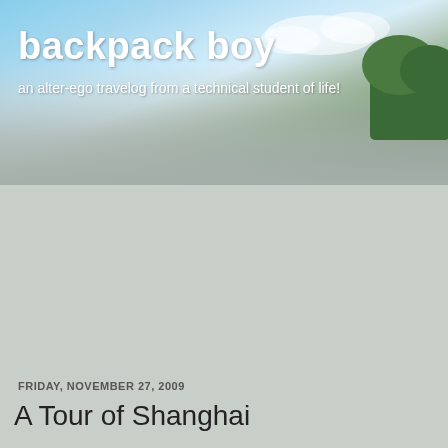backpack boy
an alter-ego travelog from a technical student of life!
FRIDAY, NOVEMBER 27, 2009
A Tour of Shanghai
Woke up today to a very good sunny morning and the temperature outside is 12C. I know it's far from the comfortable 28C (or mid-20s) that we have back in Manila, but I was told temperature today is already warm and it could get colder at this time of the year. We had our buffet breakfast this morning at MoMo Cafe inside the hotel. Again, breakfast wasn't part of the room rate we reserved but it was given to us complimentary due to my Gold Elite status. Thank you so much Marriott Rewards!